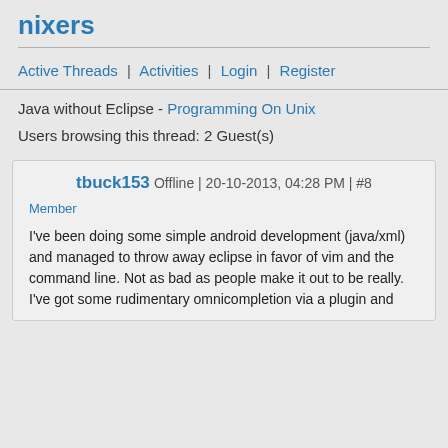nixers
Active Threads | Activities | Login | Register
Java without Eclipse - Programming On Unix
Users browsing this thread: 2 Guest(s)
tbuck153 Offline | 20-10-2013, 04:28 PM | #8
Member
I've been doing some simple android development (java/xml) and managed to throw away eclipse in favor of vim and the command line. Not as bad as people make it out to be really. I've got some rudimentary omnicompletion via a plugin and